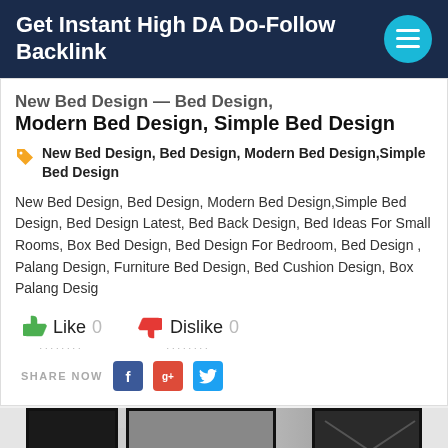Get Instant High DA Do-Follow Backlink
New Bed Design — Bed Design, Modern Bed Design, Simple Bed Design
New Bed Design, Bed Design, Modern Bed Design,Simple Bed Design
New Bed Design, Bed Design, Modern Bed Design,Simple Bed Design, Bed Design Latest, Bed Back Design, Bed Ideas For Small Rooms, Box Bed Design, Bed Design For Bedroom, Bed Design , Palang Design, Furniture Bed Design, Bed Cushion Design, Box Palang Desig
[Figure (photo): Bedroom photo showing framed wall art and modern bed design]